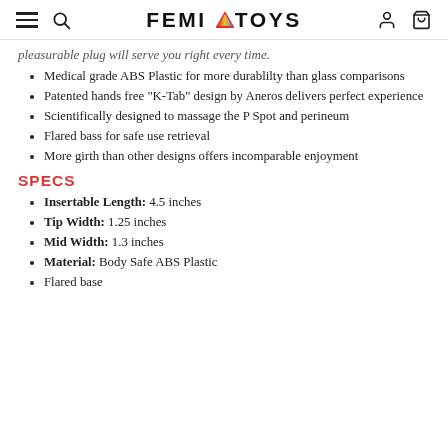FEMI TOYS
pleasurable plug will serve you right every time.
Medical grade ABS Plastic for more durablilty than glass comparisons
Patented hands free "K-Tab" design by Aneros delivers perfect experience
Scientifically designed to massage the P Spot and perineum
Flared bass for safe use retrieval
More girth than other designs offers incomparable enjoyment
SPECS
Insertable Length: 4.5 inches
Tip Width: 1.25 inches
Mid Width: 1.3 inches
Material: Body Safe ABS Plastic
Flared base